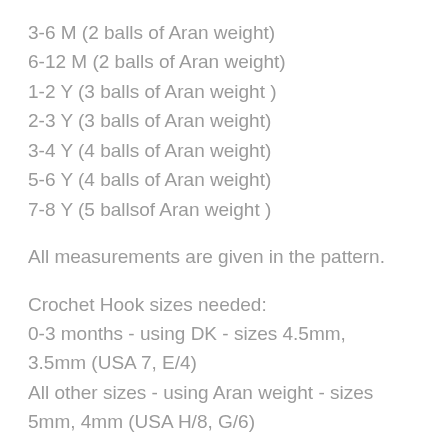3-6 M (2 balls of Aran weight)
6-12 M (2 balls of Aran weight)
1-2 Y (3 balls of Aran weight )
2-3 Y (3 balls of Aran weight)
3-4 Y (4 balls of Aran weight)
5-6 Y (4 balls of Aran weight)
7-8 Y (5 ballsof Aran weight )
All measurements are given in the pattern.
Crochet Hook sizes needed:
0-3 months - using DK - sizes 4.5mm, 3.5mm (USA 7, E/4)
All other sizes - using Aran weight - sizes 5mm, 4mm (USA H/8, G/6)